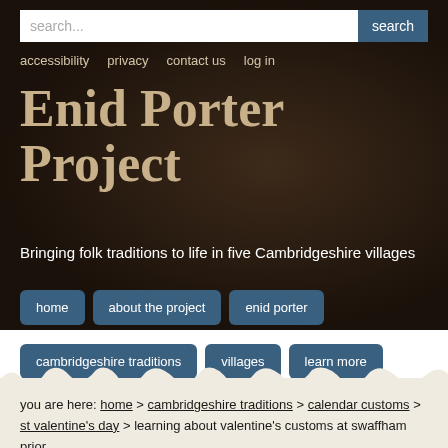search...  search
accessibility  privacy  contact us  log in
Enid Porter Project
Bringing folk traditions to life in five Cambridgeshire villages
home
about the project
enid porter
cambridgeshire traditions
villages
learn more
you are here: home > cambridgeshire traditions > calendar customs > st valentine's day > learning about valentine's customs at swaffham prior